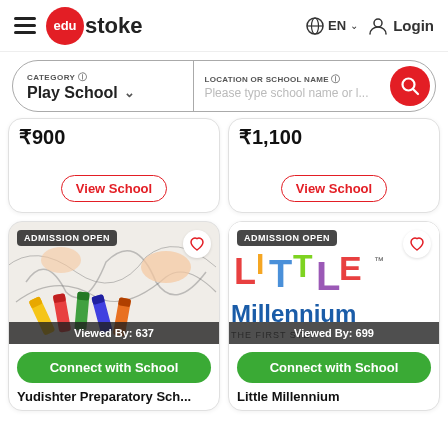edustoke — EN Login navigation header
CATEGORY: Play School | LOCATION OR SCHOOL NAME: Please type school name or l...
₹900
View School
₹1,100
View School
[Figure (photo): Child drawing with crayons, ADMISSION OPEN badge, Viewed By: 637]
Connect with School
Yudishter Preparatory Sch...
[Figure (logo): Little Millennium school logo with colorful letters, ADMISSION OPEN badge, Viewed By: 699]
Connect with School
Little Millennium